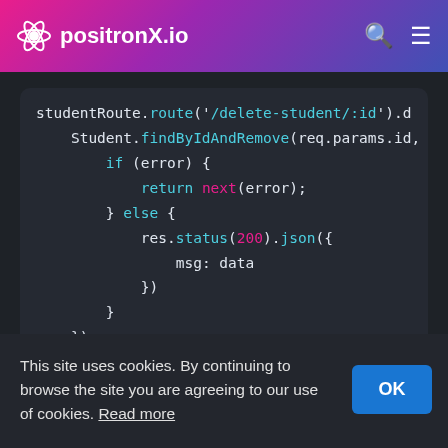positronX.io
[Figure (screenshot): Code snippet showing Node.js Express route for deleting a student by ID, with findByIdAndRemove, error handling, and module.exports.]
This site uses cookies. By continuing to browse the site you are agreeing to our use of cookies. Read more